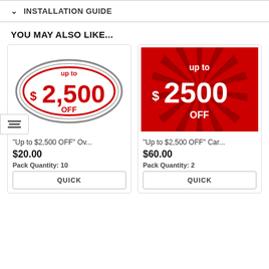INSTALLATION GUIDE
YOU MAY ALSO LIKE...
[Figure (photo): Oval sticker with red and gray design showing 'up to $2,500 OFF']
"Up to $2,500 OFF" Ov...
$20.00
Pack Quantity: 10
[Figure (photo): Red starburst card design showing 'up to $2500 OFF' in white text]
"Up to $2,500 OFF" Car...
$60.00
Pack Quantity: 2